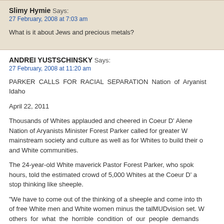Slimy Hymie Says:
27 February, 2008 at 7:03 am

What is it about Jews and precious metals?
ANDREI YUSTSCHINSKY Says:
27 February, 2008 at 11:20 am

PARKER CALLS FOR RACIAL SEPARATION Nation of Aryanist Idaho

April 22, 2011

Thousands of Whites applauded and cheered in Coeur D' Alene Nation of Aryanists Minister Forest Parker called for greater W mainstream society and culture as well as for Whites to build their c and White communities.

The 24-year-old White maverick Pastor Forest Parker, who spok hours, told the estimated crowd of 5,000 Whites at the Coeur D' a stop thinking like sheeple.

“We have to come out of the thinking of a sheeple and come into th of free White men and White women minus the talMUDvision set. W others for what the horrible condition of our people demands ourselves.” He spoke for two and a half hours.